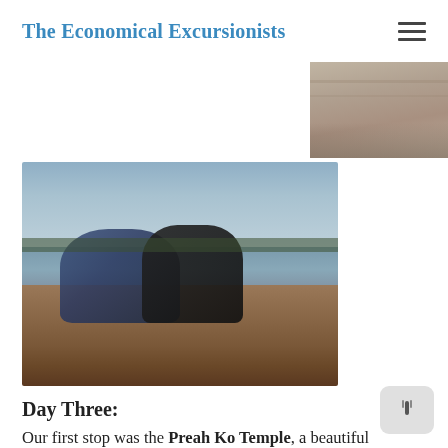The Economical Excursionists
[Figure (photo): Partial top photo showing sandy/dock surface, cropped — appears to be a waterfront or boat dock scene, faded/muted tones]
[Figure (photo): Two people (a woman in a dark blue shirt and a man in a black shirt) sitting on the wooden deck of a long boat on a calm river, smiling at the camera. Overcast sky and green treeline in background.]
Day Three:
Our first stop was the Preah Ko Temple, a beautiful sandstone temple with very few other tourists, which